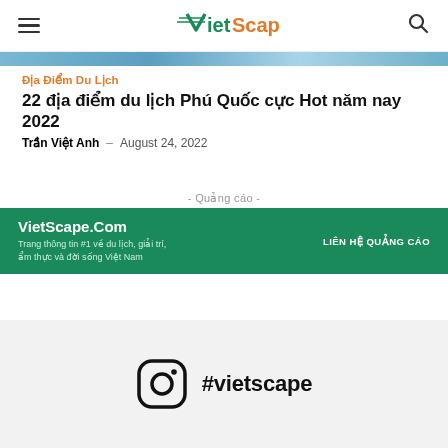VietScape
[Figure (photo): Cropped top of a travel photo, appears to be a beach or scenic location in Phu Quoc]
Địa Điểm Du Lịch
22 địa điểm du lịch Phú Quốc cực Hot năm nay 2022
Trần Việt Anh  -  August 24, 2022
- Quảng cáo -
[Figure (infographic): VietScape.Com advertisement banner in green. Text: VietScape.Com, Trang thông tin #1 về du lịch, giải trí, ẩm thực và đời sống Việt Nam. Right side: LIÊN HỆ QUẢNG CÁO]
[Figure (logo): Instagram icon with hashtag #vietscape]